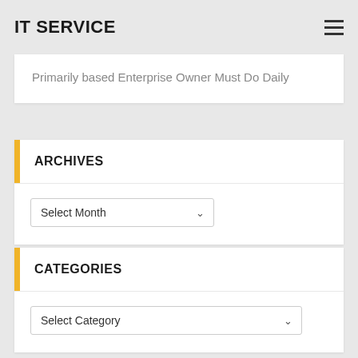IT SERVICE
Primarily based Enterprise Owner Must Do Daily
ARCHIVES
Select Month
CATEGORIES
Select Category